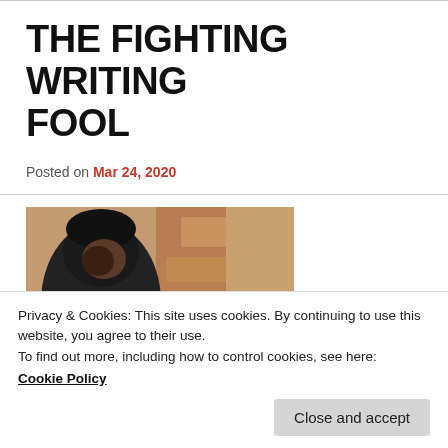THE FIGHTING WRITING FOOL
Posted on Mar 24, 2020
[Figure (photo): A person wearing a black beanie hat near a rustic brick or stone wall, shown from the shoulders up, cropped photo.]
Privacy & Cookies: This site uses cookies. By continuing to use this website, you agree to their use.
To find out more, including how to control cookies, see here:
Cookie Policy
Close and accept